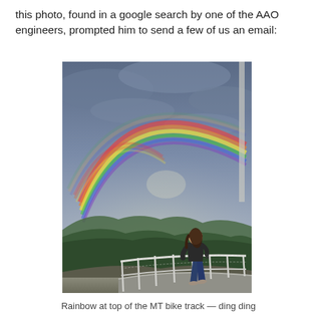this photo, found in a google search by one of the AAO engineers, prompted him to send a few of us an email:
[Figure (photo): A person standing on an elevated observation deck with a white railing, looking back toward the camera while a vivid double rainbow arcs over a mountainous, forested landscape under a dramatic cloudy sky.]
Rainbow at top of the MT bike track — ding ding